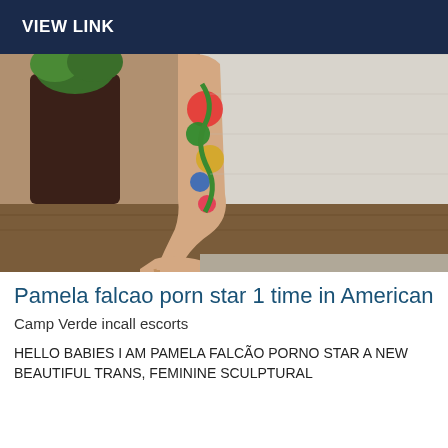VIEW LINK
[Figure (photo): Photo of a leg wearing a high heel shoe with colorful floral tattoos, standing on a wooden floor next to a dark plant pot and a white wall]
Pamela falcao porn star 1 time in American
Camp Verde incall escorts
HELLO BABIES I AM PAMELA FALCÃO PORNO STAR A NEW BEAUTIFUL TRANS, FEMININE SCULPTURAL